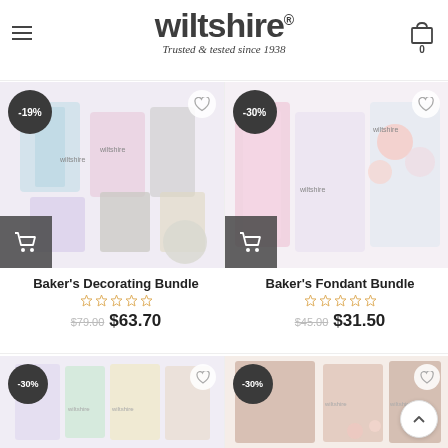[Figure (logo): Wiltshire logo with tagline 'Trusted & tested since 1938']
[Figure (photo): Baker's Decorating Bundle product image with -19% discount badge and cart button]
Baker's Decorating Bundle
$79.00 $63.70
[Figure (photo): Baker's Fondant Bundle product image with -30% discount badge and cart button]
Baker's Fondant Bundle
$45.00 $31.50
[Figure (photo): Third product image with -30% discount badge, partially visible]
[Figure (photo): Fourth product image with -30% discount badge, partially visible]